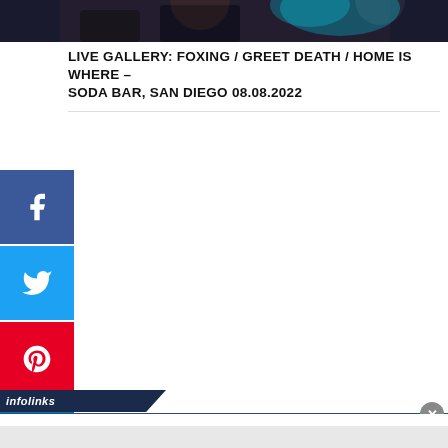[Figure (photo): Dark concert/performance photo showing performers on stage with colorful lighting]
LIVE GALLERY: FOXING / GREET DEATH / HOME IS WHERE – SODA BAR, SAN DIEGO 08.08.2022
[Figure (infographic): Social media sharing buttons sidebar: Facebook (blue), Twitter (light blue), Pinterest (red), LinkedIn (blue), Tumblr (dark blue)]
[Figure (screenshot): Infolinks advertisement bar at bottom of page with close button]